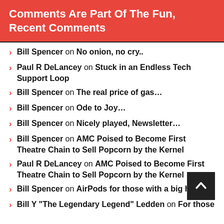Comments Are Part Of The Fun, Recent Comments
Bill Spencer on No onion, no cry..
Paul R DeLancey on Stuck in an Endless Tech Support Loop
Bill Spencer on The real price of gas…
Bill Spencer on Ode to Joy…
Bill Spencer on Nicely played, Newsletter…
Bill Spencer on AMC Poised to Become First Theatre Chain to Sell Popcorn by the Kernel
Paul R DeLancey on AMC Poised to Become First Theatre Chain to Sell Popcorn by the Kernel
Bill Spencer on AirPods for those with a big head…
Bill Y "The Legendary Legend" Ledden on For those